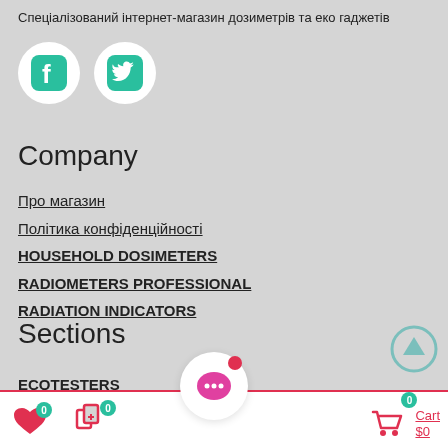Спеціалізований інтернет-магазин дозиметрів та еко гаджетів
[Figure (logo): Facebook and Twitter social media icons in white circles on grey background]
Company
Про магазин
Політика конфіденційності
HOUSEHOLD DOSIMETERS
RADIOMETERS PROFESSIONAL
RADIATION INDICATORS
Sections
ECOTESTERS
0  0  Cart $0